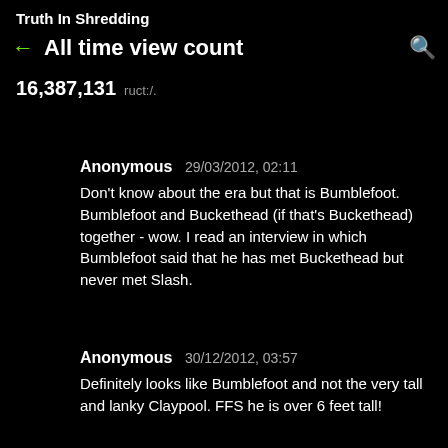Truth In Shredding
All time view count
16,387,131  .:../.
Anonymous  29/03/2012, 02:11
Don't know about the era but that is Bumblefoot. Bumblefoot and Buckethead (if that's Buckethead) together - wow. I read an interview in which Bumblefoot said that he has met Buckethead but never met Slash.
Anonymous  30/12/2012, 03:57
Definitely looks like Bumblefoot and not the very tall and lanky Claypool. FFS he is over 6 feet tall!